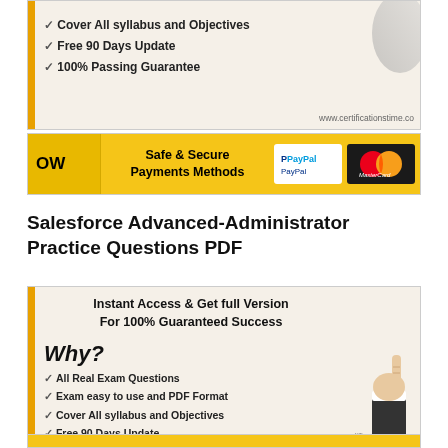[Figure (infographic): Top certification banner with checkmarks: Cover All syllabus and Objectives, Free 90 Days Update, 100% Passing Guarantee. URL: www.certificationstime.co]
[Figure (infographic): Payment methods banner: Safe & Secure Payments Methods, PayPal logo, MasterCard logo, BUY NOW button]
Salesforce Advanced-Administrator Practice Questions PDF
[Figure (infographic): Bottom certification banner: Instant Access & Get full Version For 100% Guaranteed Success. Why? All Real Exam Questions, Exam easy to use and PDF Format, Cover All syllabus and Objectives, Free 90 Days Update, 100% Passing Guarantee. URL: www.certificationstime.co. Hand pointing finger graphic on the right.]
[Figure (infographic): Bottom strip yellow payment banner (partially visible)]